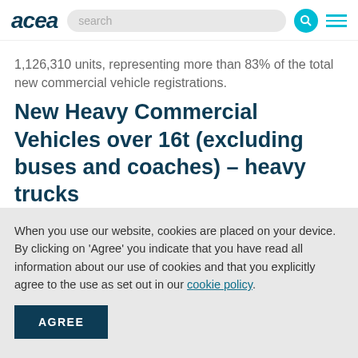acea [search bar] [search icon] [hamburger menu]
1,126,310 units, representing more than 83% of the total new commercial vehicle registrations.
New Heavy Commercial Vehicles over 16t (excluding buses and coaches) – heavy trucks
[Figure (other): Partial chart stub showing 'New Heavy Commercial Vehicle Registrations in the EU – Last 12 months' with units axis (60000) on left and Percentage (-160.0) on right]
When you use our website, cookies are placed on your device. By clicking on 'Agree' you indicate that you have read all information about our use of cookies and that you explicitly agree to the use as set out in our cookie policy.
AGREE